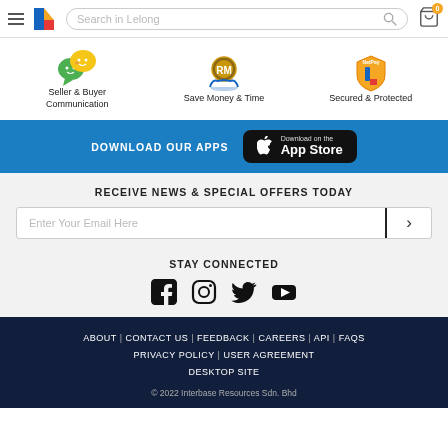Lelong.my — Search in Lelong header with logo, search bar, and cart
[Figure (infographic): Three feature icons: Seller & Buyer Communication (speech bubbles), Save Money & Time (RM coin with hands), Secured & Protected (NetPay shield)]
Seller & Buyer Communication
Save Money & Time
Secured & Protected
DOWNLOAD OUR APPS — Download on the App Store
RECEIVE NEWS & SPECIAL OFFERS TODAY
Enter Your Email Here
STAY CONNECTED
[Figure (infographic): Social media icons: Facebook, Instagram, Twitter, YouTube]
ABOUT | CONTACT US | FEEDBACK | CAREERS | API | FAQS | PRIVACY POLICY | USER AGREEMENT | DESKTOP SITE | © 2022 Interbase Resources Sdn. Bhd